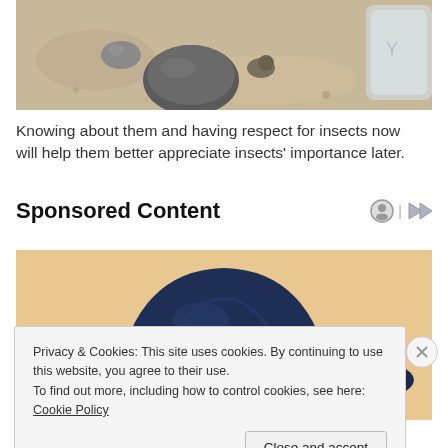[Figure (photo): Photo of rocks and sand with a plastic container in the background, top portion cropped]
Knowing about them and having respect for insects now will help them better appreciate insects' importance later.
Sponsored Content
[Figure (photo): Photo of a person wearing a dark navy blue cowboy hat, partially visible]
Privacy & Cookies: This site uses cookies. By continuing to use this website, you agree to their use.
To find out more, including how to control cookies, see here: Cookie Policy
Close and accept